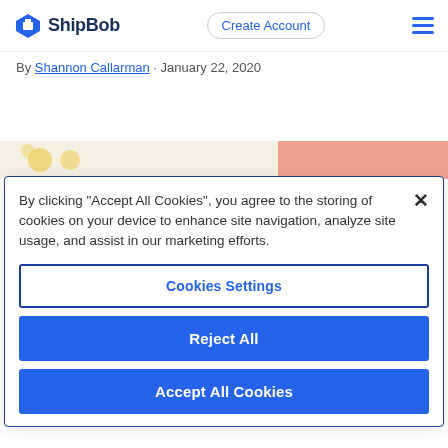[Figure (logo): ShipBob logo with diamond icon and bold text]
Create Account
By Shannon Callarman · January 22, 2020
[Figure (photo): Partial image strip showing food items on left and pink/coral section on right]
By clicking “Accept All Cookies”, you agree to the storing of cookies on your device to enhance site navigation, analyze site usage, and assist in our marketing efforts.
Cookies Settings
Reject All
Accept All Cookies